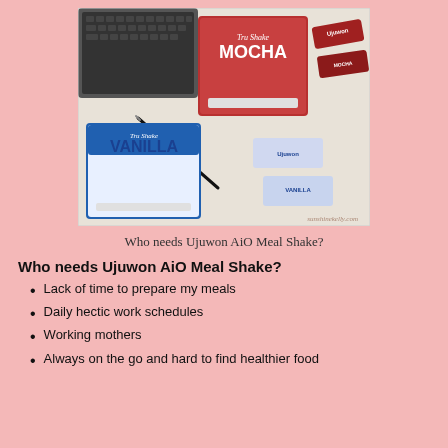[Figure (photo): Product photo showing TruShake Mocha and TruShake Vanilla meal shake boxes (Ujuwon brand), individual sachet packets, a laptop keyboard, and a pen on a white surface. Watermark reads sunshinekelly.com.]
Who needs Ujuwon AiO Meal Shake?
Who needs Ujuwon AiO Meal Shake?
Lack of time to prepare my meals
Daily hectic work schedules
Working mothers
Always on the go and hard to find healthier food